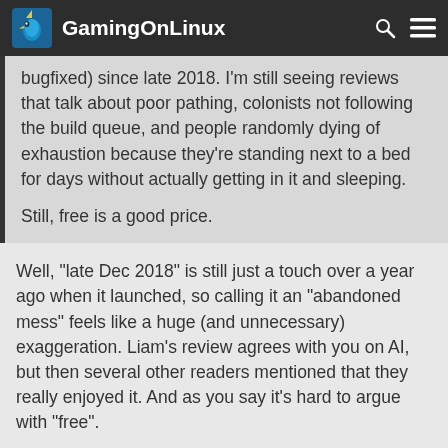GamingOnLinux
bugfixed) since late 2018. I'm still seeing reviews that talk about poor pathing, colonists not following the build queue, and people randomly dying of exhaustion because they're standing next to a bed for days without actually getting in it and sleeping.

Still, free is a good price.
Well, "late Dec 2018" is still just a touch over a year ago when it launched, so calling it an "abandoned mess" feels like a huge (and unnecessary) exaggeration. Liam's review agrees with you on AI, but then several other readers mentioned that they really enjoyed it. And as you say it's hard to argue with "free".